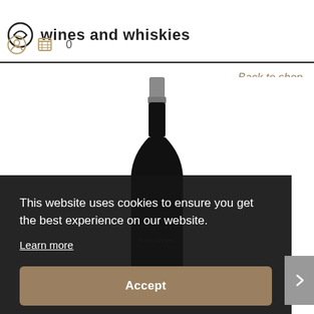wines and whiskies
Back to shop
[Figure (photo): A dark wine bottle with silver/grey capsule, the bottle body is dark/black, placed centered on white background. Partial label visible at bottom reading 'Noble Vineyard' or similar.]
This website uses cookies to ensure you get the best experience on our website.
Learn more
Accept